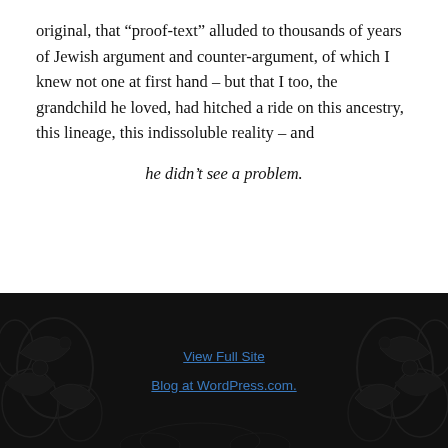original, that “proof-text” alluded to thousands of years of Jewish argument and counter-argument, of which I knew not one at first hand – but that I too, the grandchild he loved, had hitched a ride on this ancestry, this lineage, this indissoluble reality – and
he didn’t see a problem.
May 29, 2018
Leave a Reply
View Full Site
Blog at WordPress.com.